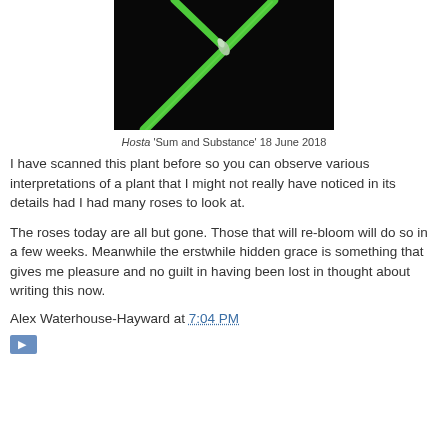[Figure (photo): Close-up photo of a green hosta plant stem against a black background, showing a leaf bud emerging from the stem.]
Hosta 'Sum and Substance' 18 June 2018
I have scanned this plant before so you can observe various interpretations of a plant that I might not really have noticed in its details had I had many roses to look at.
The roses today are all but gone. Those that will re-bloom will do so in a few weeks. Meanwhile the erstwhile hidden grace is something that gives me pleasure and no guilt in having been lost in thought about writing this now.
Alex Waterhouse-Hayward at 7:04 PM